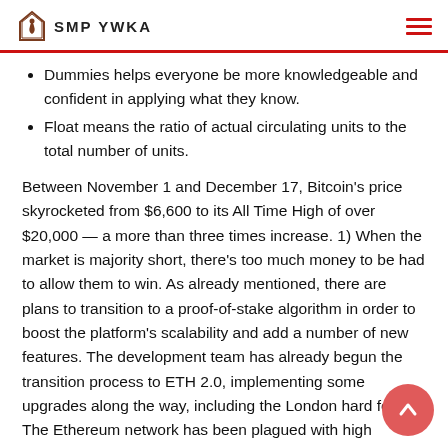SMP YWKA
Dummies helps everyone be more knowledgeable and confident in applying what they know.
Float means the ratio of actual circulating units to the total number of units.
Between November 1 and December 17, Bitcoin's price skyrocketed from $6,600 to its All Time High of over $20,000 — a more than three times increase. 1) When the market is majority short, there's too much money to be had to allow them to win. As already mentioned, there are plans to transition to a proof-of-stake algorithm in order to boost the platform's scalability and add a number of new features. The development team has already begun the transition process to ETH 2.0, implementing some upgrades along the way, including the London hard fork. The Ethereum network has been plagued with high transaction fees, often buckling at